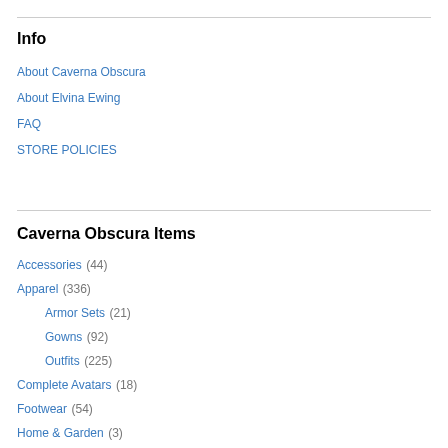Info
About Caverna Obscura
About Elvina Ewing
FAQ
STORE POLICIES
Caverna Obscura Items
Accessories (44)
Apparel (336)
Armor Sets (21)
Gowns (92)
Outfits (225)
Complete Avatars (18)
Footwear (54)
Home & Garden (3)
Skins & Body (25)